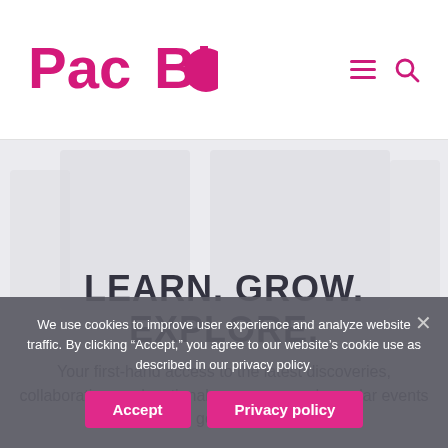[Figure (logo): PacBio logo in magenta/pink with circle forming the 'O' in Bio]
[Figure (illustration): Hero background with light gray geometric shapes/rectangles]
LEARN. GROW. EXPLORE.
Your first-hand access to the latest discoveries, collaborations, educational resources, and popular events in genomics.
We use cookies to improve user experience and analyze website traffic. By clicking “Accept,” you agree to our website’s cookie use as described in our privacy policy.